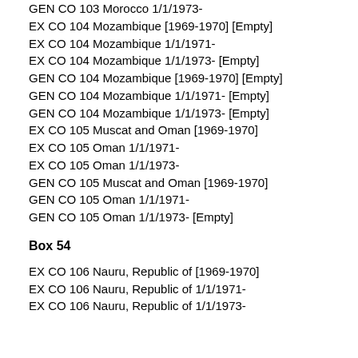GEN CO 103 Morocco 1/1/1973-
EX CO 104 Mozambique [1969-1970] [Empty]
EX CO 104 Mozambique 1/1/1971-
EX CO 104 Mozambique 1/1/1973- [Empty]
GEN CO 104 Mozambique [1969-1970] [Empty]
GEN CO 104 Mozambique 1/1/1971- [Empty]
GEN CO 104 Mozambique 1/1/1973- [Empty]
EX CO 105 Muscat and Oman [1969-1970]
EX CO 105 Oman 1/1/1971-
EX CO 105 Oman 1/1/1973-
GEN CO 105 Muscat and Oman [1969-1970]
GEN CO 105 Oman 1/1/1971-
GEN CO 105 Oman 1/1/1973- [Empty]
Box 54
EX CO 106 Nauru, Republic of [1969-1970]
EX CO 106 Nauru, Republic of 1/1/1971-
EX CO 106 Nauru, Republic of 1/1/1973-